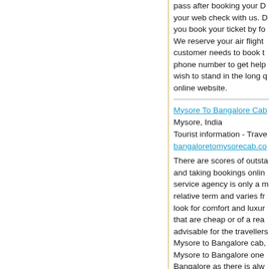pass after booking your D your web check with us. D you book your ticket by fo We reserve your air flight customer needs to book t phone number to get help wish to stand in the long online website.
Mysore To Bangalore Cab
Mysore, India
Tourist information - Trave
bangaloretomysorecab.co
There are scores of outsta and taking bookings onlin service agency is only a m relative term and varies fr look for comfort and luxur that are cheap or of a rea advisable for the travellers Mysore to Bangalore cab, Mysore to Bangalore one Bangalore as there is alw their services or even con